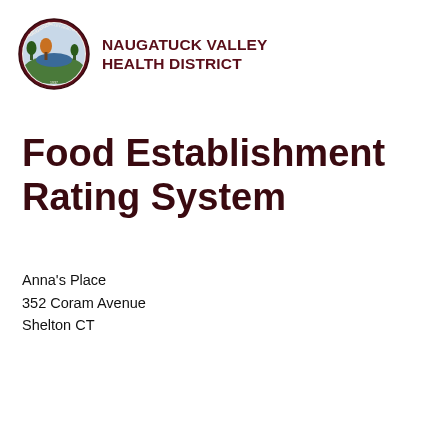[Figure (logo): Naugatuck Valley Health District circular seal/logo with nature scene]
NAUGATUCK VALLEY HEALTH DISTRICT
Food Establishment Rating System
Anna’s Place
352 Coram Avenue
Shelton CT